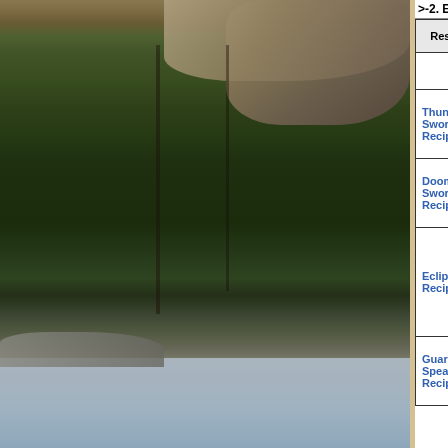[Figure (photo): Aerial or close-up photo of a rocky, forested cliff or mountainside with green coniferous trees and a rocky/snowy area at the bottom]
>-2. Exception see below
| Resource | Notes | State of research | V... |
| --- | --- | --- | --- |
|  |  |  |  |
| Thundersoul Sword Recipe |  | [Level 32+] |  |
| Doomblade Sword Recipe |  | [Level 40+] | ✓ 2x |
| Eclipse Recipe |  | [Level 40+] | ✓ 3x 🌲 ⭐ 🌨 |
| Guard's Spear Recipe |  | [Level 32+] | ✓ 3x |